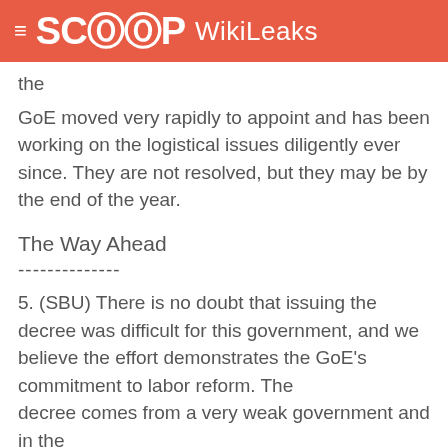≡ SCOOP WikiLeaks
the
GoE moved very rapidly to appoint and has been working on the logistical issues diligently ever since. They are not resolved, but they may be by the end of the year.
The Way Ahead
--------------
5. (SBU) There is no doubt that issuing the decree was difficult for this government, and we believe the effort demonstrates the GoE's commitment to labor reform. The decree comes from a very weak government and in the